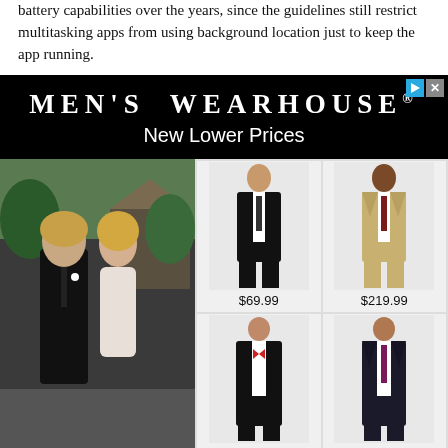battery capabilities over the years, since the guidelines still restrict multitasking apps from using background location just to keep the app running.
[Figure (screenshot): Men's Wearhouse advertisement banner with black background showing brand name 'MEN'S WEARHOUSE®' and tagline 'New Lower Prices', with photos of men in suits priced at $69.99, $219.99, $219.99, $99.99 alongside a couple in wedding attire.]